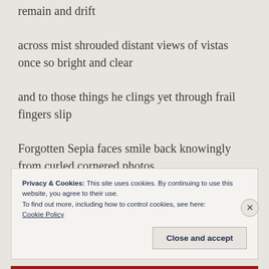remain and drift
across mist shrouded distant views of vistas once so bright and clear
and to those things he clings yet through frail fingers slip
Forgotten Sepia faces smile back knowingly from curled cornered photos
Privacy & Cookies: This site uses cookies. By continuing to use this website, you agree to their use.
To find out more, including how to control cookies, see here:
Cookie Policy
Close and accept